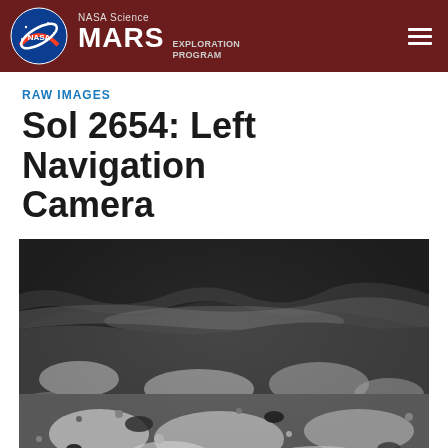NASA Science MARS EXPLORATION PROGRAM
RAW IMAGES
Sol 2654: Left Navigation Camera
[Figure (photo): Black and white raw image from the Mars Curiosity rover Left Navigation Camera on Sol 2654, showing rocky Martian terrain with scattered rocks and pebbles in the foreground and a darker rocky ridge in the background.]